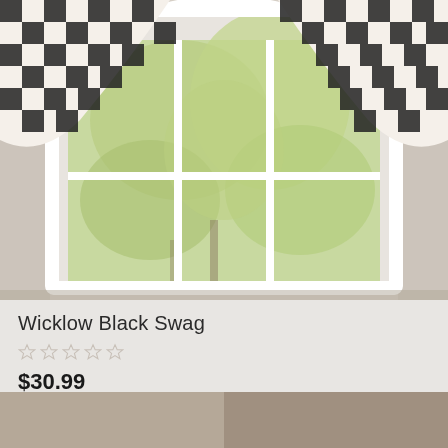[Figure (photo): Product photo of black and white buffalo check/plaid swag curtains hung over a window with white frame, trees visible through the glass, on a beige/cream wall background.]
Wicklow Black Swag
★★★★★ (0 stars, empty rating)
$30.99
[Figure (infographic): Three action icons: shopping cart, sliders/filter, and heart/wishlist]